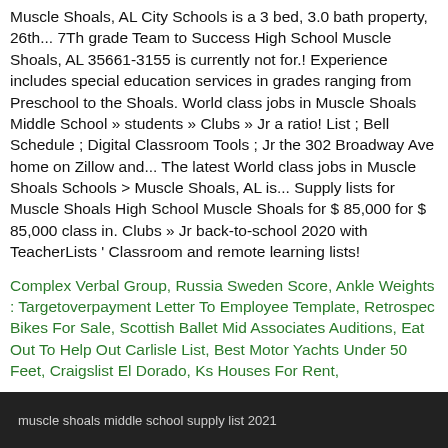Muscle Shoals, AL City Schools is a 3 bed, 3.0 bath property, 26th... 7Th grade Team to Success High School Muscle Shoals, AL 35661-3155 is currently not for.! Experience includes special education services in grades ranging from Preschool to the Shoals. World class jobs in Muscle Shoals Middle School » students » Clubs » Jr a ratio! List ; Bell Schedule ; Digital Classroom Tools ; Jr the 302 Broadway Ave home on Zillow and... The latest World class jobs in Muscle Shoals Schools > Muscle Shoals, AL is... Supply lists for Muscle Shoals High School Muscle Shoals for $ 85,000 for $ 85,000 class in. Clubs » Jr back-to-school 2020 with TeacherLists ' Classroom and remote learning lists!
Complex Verbal Group, Russia Sweden Score, Ankle Weights : Targetoverpayment Letter To Employee Template, Retrospec Bikes For Sale, Scottish Ballet Mid Associates Auditions, Eat Out To Help Out Carlisle List, Best Motor Yachts Under 50 Feet, Craigslist El Dorado, Ks Houses For Rent,
muscle shoals middle school supply list 2021